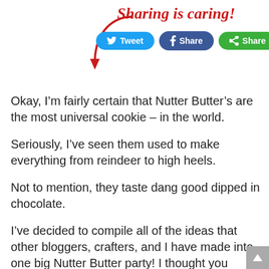Sharing is caring!
[Figure (infographic): Social sharing buttons: Tweet (Twitter/blue), Share (Facebook/dark blue), Share (green/recycle icon), with a red curved arrow pointing to them]
Okay, I'm fairly certain that Nutter Butter's are the most universal cookie – in the world.
Seriously, I've seen them used to make everything from reindeer to high heels.
Not to mention, they taste dang good dipped in chocolate.
I've decided to compile all of the ideas that other bloggers, crafters, and I have made into one big Nutter Butter party! I thought you would find this handy, for the next time you may need a cute and easy treat.